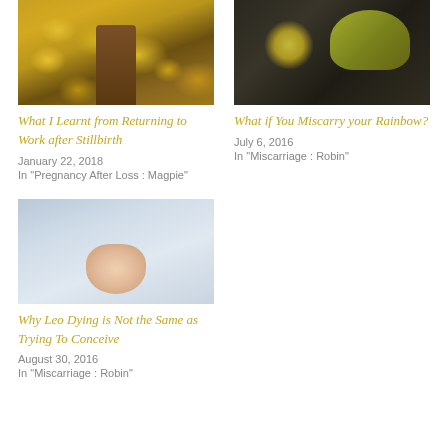[Figure (photo): Person standing in autumn leaves wearing brown boots, viewed from above]
What I Learnt from Returning to Work after Stillbirth
January 22, 2018
In "Pregnancy After Loss : Magpie"
[Figure (photo): Candles and yellow flowers on a dark surface with photographs]
What if You Miscarry your Rainbow?
July 6, 2016
In "Miscarriage : Robin"
[Figure (photo): Close-up of a baby's feet with hospital identification band]
Why Leo Dying is Not the Same as Trying To Conceive
August 30, 2016
In "Miscarriage : Robin"